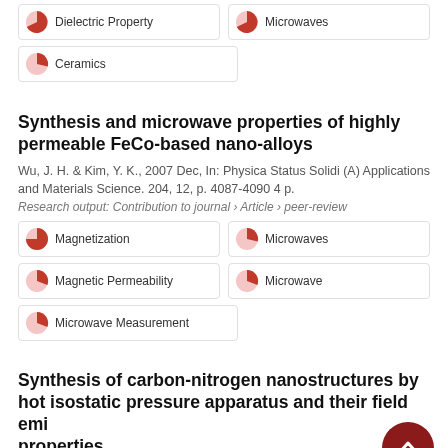Dielectric Property
Microwaves
Ceramics
Synthesis and microwave properties of highly permeable FeCo-based nano-alloys
Wu, J. H. & Kim, Y. K., 2007 Dec, In: Physica Status Solidi (A) Applications and Materials Science. 204, 12, p. 4087-4090 4 p.
Research output: Contribution to journal › Article › peer-review
Magnetization
Microwaves
Magnetic Permeability
Microwave
Microwave Measurement
Synthesis of carbon-nitrogen nanostructures by hot isostatic pressure apparatus and their field emission properties
Lee, Y. D., Blank, V. D., Batov, D. V., Buga, S. G., Lee, Y. H., Nahm, S. & Ju, B. K., 2007 Feb, In: Journal of Nanoscience and